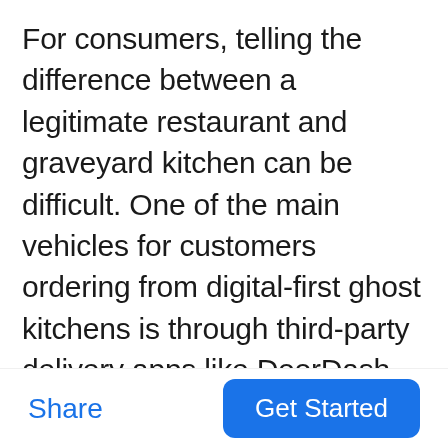For consumers, telling the difference between a legitimate restaurant and graveyard kitchen can be difficult. One of the main vehicles for customers ordering from digital-first ghost kitchens is through third-party delivery apps like DoorDash and GrubHub. By flooding third-party delivery apps with graveyard kitchens that all look like unique restaurants, these establishments are distracting customers from legitimate small businesses just looking to reach a wider audience of customers. It can be
Share
Get Started